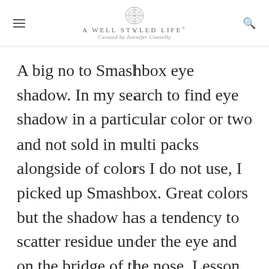A WELL STYLED LIFE® Curated by Jennifer Connelly
A big no to Smashbox eye shadow. In my search to find eye shadow in a particular color or two and not sold in multi packs alongside of colors I do not use, I picked up Smashbox. Great colors but the shadow has a tendency to scatter residue under the eye and on the bridge of the nose. Lesson learned, Mac single pack shadows are still my